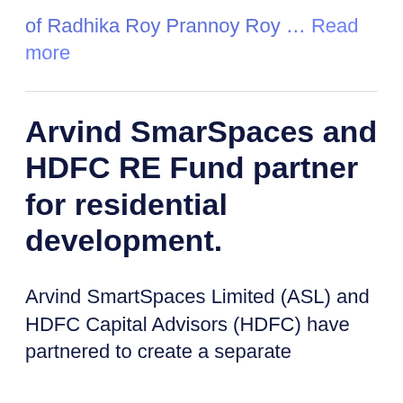of Radhika Roy Prannoy Roy … Read more
Arvind SmarSpaces and HDFC RE Fund partner for residential development.
Arvind SmartSpaces Limited (ASL) and HDFC Capital Advisors (HDFC) have partnered to create a separate